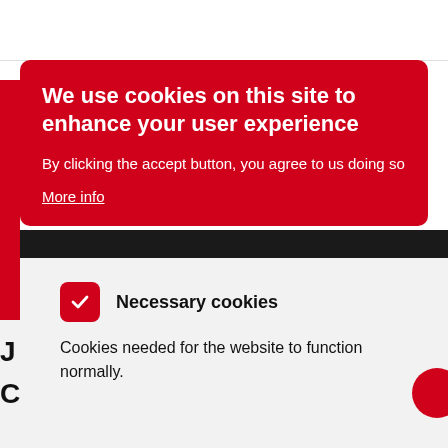[Figure (screenshot): Cookie consent overlay on a website. A red rounded rectangle contains the heading 'We use cookies on this site to enhance your user experience', body text 'By clicking the accept button, you agree to us doing so', and a 'More info' underlined link. Below the overlay is a light gray section showing a red checkbox with a checkmark labeled 'Necessary cookies' and description text 'Cookies needed for the website to function normally.']